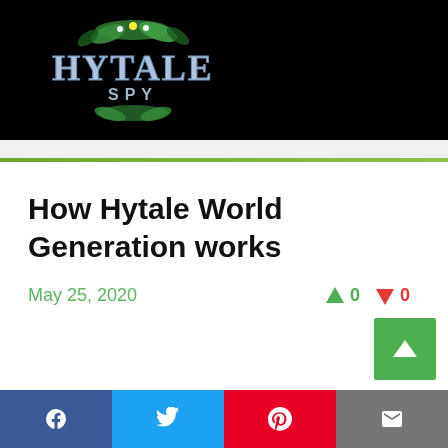Hytale Spy
How Hytale World Generation works
May 25, 2020
↑ 0   ↓ 0
Facebook Twitter Pinterest Email